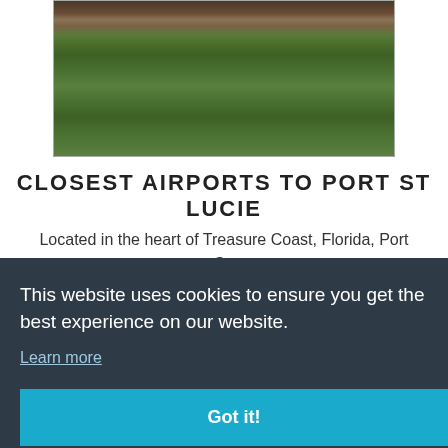[Figure (photo): Outdoor photo showing green grass lawn with mulch/soil area and some structures in background]
CLOSEST AIRPORTS TO PORT ST LUCIE
Located in the heart of Treasure Coast, Florida, Port St. Lucie emerged as a growing urban area that still has a [...]a.
This website uses cookies to ensure you get the best experience on our website. Learn more Got it!
[Figure (photo): Outdoor photo showing trees and what appears to be a map or outdoor display]